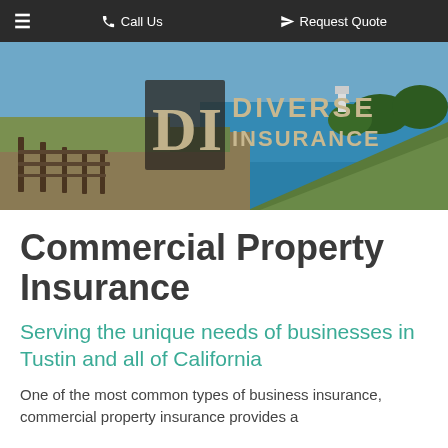≡   Call Us   ➤ Request Quote
[Figure (photo): Coastal California scene with wooden fence, cliffs, ocean, and Diverse Insurance logo overlay]
Commercial Property Insurance
Serving the unique needs of businesses in Tustin and all of California
One of the most common types of business insurance, commercial property insurance provides a